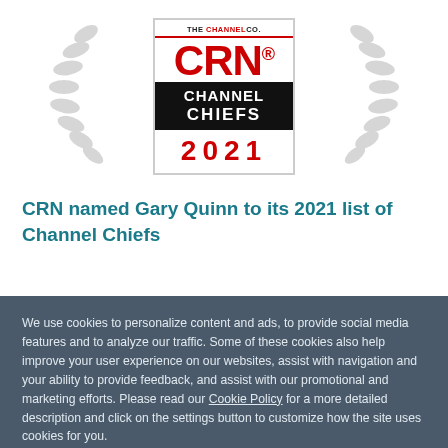[Figure (logo): CRN Channel Chiefs 2021 award badge with laurel wreaths on either side. Badge shows THE CHANNEL CO. at top, CRN in large red letters, CHANNEL CHIEFS in white on black bar, and 2021 in red below.]
CRN named Gary Quinn to its 2021 list of Channel Chiefs
We use cookies to personalize content and ads, to provide social media features and to analyze our traffic. Some of these cookies also help improve your user experience on our websites, assist with navigation and your ability to provide feedback, and assist with our promotional and marketing efforts. Please read our Cookie Policy for a more detailed description and click on the settings button to customize how the site uses cookies for you.
ACCEPT COOKIES
COOKIES SETTINGS